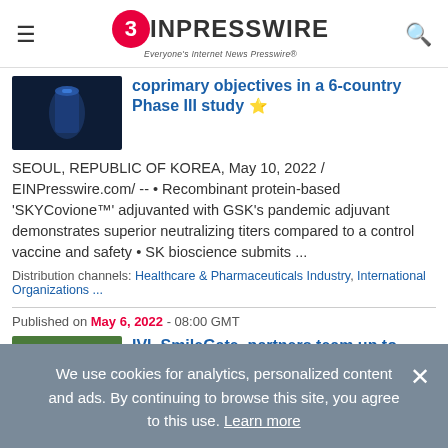EINPresswire — Everyone's Internet News Presswire
coprimary objectives in a 6-country Phase III study ⭐
SEOUL, REPUBLIC OF KOREA, May 10, 2022 / EINPresswire.com/ -- • Recombinant protein-based 'SKYCovione™' adjuvanted with GSK's pandemic adjuvant demonstrates superior neutralizing titers compared to a control vaccine and safety • SK bioscience submits ...
Distribution channels: Healthcare & Pharmaceuticals Industry, International Organizations ...
Published on May 6, 2022 - 08:00 GMT
IVI, SmileGate, partners team up to vaccinate 28,000 people in Nepal ⭐
We use cookies for analytics, personalized content and ads. By continuing to browse this site, you agree to this use. Learn more